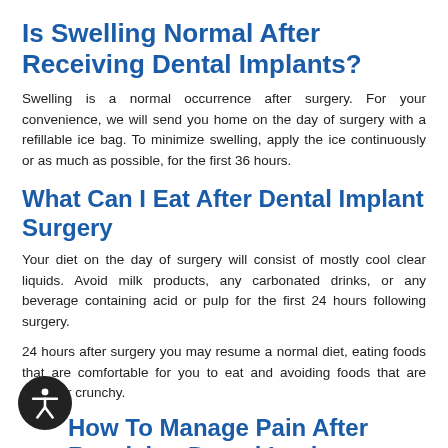Is Swelling Normal After Receiving Dental Implants?
Swelling is a normal occurrence after surgery. For your convenience, we will send you home on the day of surgery with a refillable ice bag. To minimize swelling, apply the ice continuously or as much as possible, for the first 36 hours.
What Can I Eat After Dental Implant Surgery
Your diet on the day of surgery will consist of mostly cool clear liquids. Avoid milk products, any carbonated drinks, or any beverage containing acid or pulp for the first 24 hours following surgery.
24 hours after surgery you may resume a normal diet, eating foods that are comfortable for you to eat and avoiding foods that are sharp or crunchy.
How To Manage Pain After Receiving Dental Implants